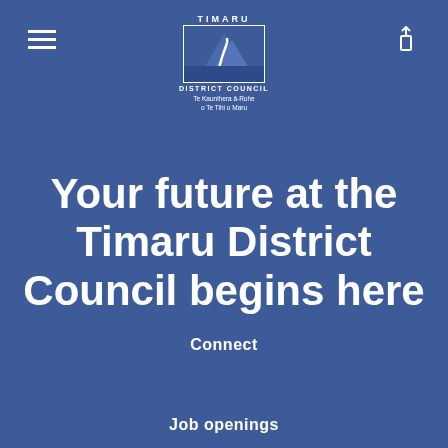[Figure (logo): Timaru District Council logo with mountain/road graphic, white on blue background, with Maori subtitle text]
Your future at the Timaru District Council begins here
Connect
Job openings